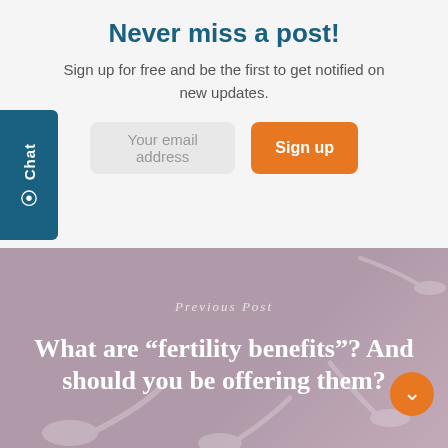Never miss a post!
Sign up for free and be the first to get notified on new updates.
Your email address
Sign up
[Figure (other): Teal chat tab widget on left side with chat bubble icon and 'Chat' text rotated vertically]
Previous Post
What are “fertility benefits”? And should you be offering them?
[Figure (photo): Muted mauve/purple background with decorative white sperm figurines/sculptures scattered around, serving as background for the previous post section]